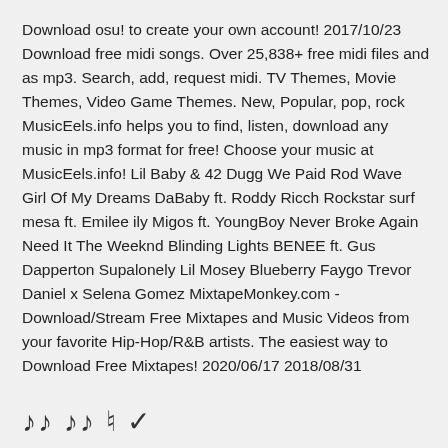Download osu! to create your own account! 2017/10/23 Download free midi songs. Over 25,838+ free midi files and as mp3. Search, add, request midi. TV Themes, Movie Themes, Video Game Themes. New, Popular, pop, rock MusicEels.info helps you to find, listen, download any music in mp3 format for free! Choose your music at MusicEels.info! Lil Baby & 42 Dugg We Paid Rod Wave Girl Of My Dreams DaBaby ft. Roddy Ricch Rockstar surf mesa ft. Emilee ily Migos ft. YoungBoy Never Broke Again Need It The Weeknd Blinding Lights BENEE ft. Gus Dapperton Supalonely Lil Mosey Blueberry Faygo Trevor Daniel x Selena Gomez MixtapeMonkey.com - Download/Stream Free Mixtapes and Music Videos from your favorite Hip-Hop/R&B artists. The easiest way to Download Free Mixtapes! 2020/06/17 2018/08/31
…𝅘𝅥𝅮𝅘𝅥𝅮 𝅘𝅥𝅮𝅘𝅥𝅮 ♩ ✓